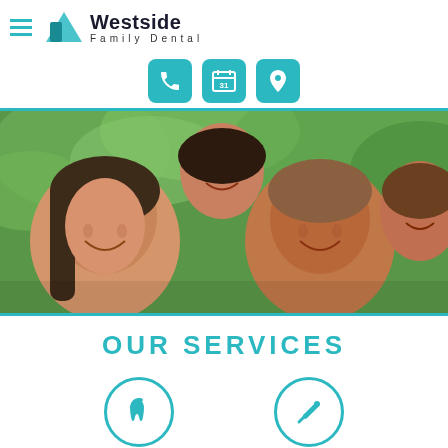Westside Family Dental
[Figure (logo): Westside Family Dental logo with hamburger menu icon, tooth/arrow logo mark, and text 'Westside Family Dental']
[Figure (infographic): Three teal rounded square icon buttons: phone, calendar (31), and map pin/location marker]
[Figure (photo): A smiling family of four — mother, father, and two children — lying together outdoors on green grass background]
OUR SERVICES
[Figure (infographic): Two teal circular icon buttons with white icons — a tooth icon on the left and a dental tool/syringe icon on the right — partially visible at bottom of page]